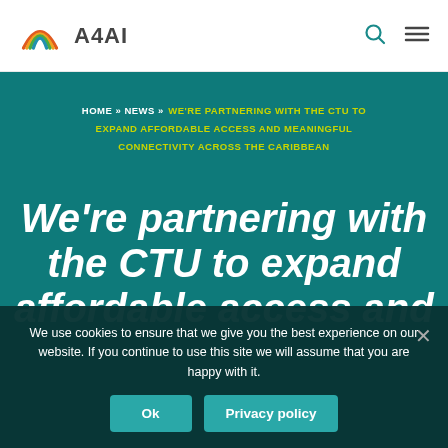A4AI
HOME » NEWS » WE'RE PARTNERING WITH THE CTU TO EXPAND AFFORDABLE ACCESS AND MEANINGFUL CONNECTIVITY ACROSS THE CARIBBEAN
We're partnering with the CTU to expand affordable access and
We use cookies to ensure that we give you the best experience on our website. If you continue to use this site we will assume that you are happy with it.